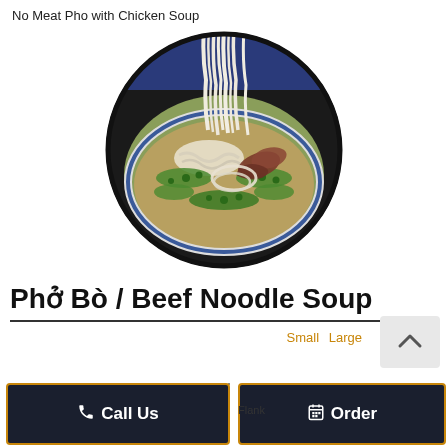No Meat Pho with Chicken Soup
[Figure (photo): Circular photo of a bowl of Vietnamese Pho Bo (Beef Noodle Soup) with rice noodles being lifted, beef slices, green onions, and broth in a blue-rimmed bowl.]
Phở Bò / Beef Noodle Soup
Small   Large
Flank
Call Us
Order